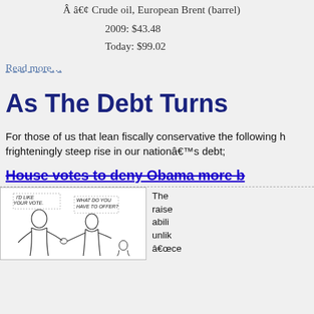Â â€¢ Crude oil, European Brent (barrel)
2009: $43.48
Today: $99.02
Read more…
As The Debt Turns
For those of us that lean fiscally conservative the following h frighteningly steep rise in our nationâ€™s debt;
House votes to deny Obama more b
[Figure (illustration): Editorial cartoon showing two figures shaking hands. Left figure says 'I'D LIKE YOUR VOTE.' Right figure says 'WHAT DO YOU HAVE TO OFFER?']
The raise abili unlik â€œce